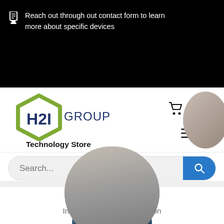Reach out through out contact form to learn more about specific devices
[Figure (logo): H2I Group Technology Store logo with green hexagon and dark blue text]
[Figure (screenshot): Search bar with blue search button and shopping cart icon with badge showing 0, and hamburger menu]
[Figure (photo): Circular cropped photo showing a person, partially visible]
Consultation
Inquire about lab construction
[Figure (photo): Bottom circular cropped photo partially visible, showing lab equipment]